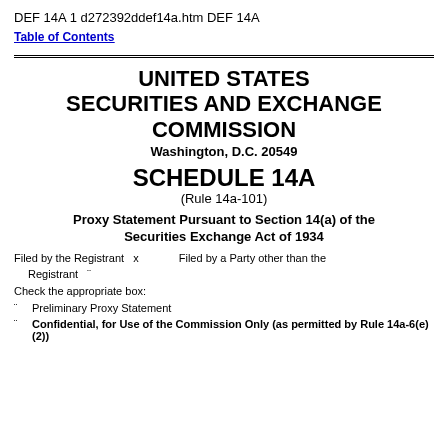DEF 14A 1 d272392ddef14a.htm DEF 14A
Table of Contents
UNITED STATES SECURITIES AND EXCHANGE COMMISSION
Washington, D.C. 20549
SCHEDULE 14A
(Rule 14a-101)
Proxy Statement Pursuant to Section 14(a) of the Securities Exchange Act of 1934
Filed by the Registrant  x
Filed by a Party other than the Registrant  ¨
Check the appropriate box:
¨   Preliminary Proxy Statement
¨   Confidential, for Use of the Commission Only (as permitted by Rule 14a-6(e)(2))